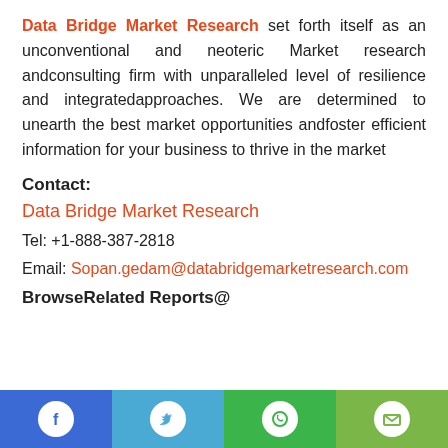Data Bridge Market Research set forth itself as an unconventional and neoteric Market research andconsulting firm with unparalleled level of resilience and integratedapproaches. We are determined to unearth the best market opportunities andfoster efficient information for your business to thrive in the market
Contact:
Data Bridge Market Research
Tel: +1-888-387-2818
Email: Sopan.gedam@databridgemarketresearch.com
BrowseRelated Reports@
[Figure (infographic): Social media icons bar at bottom: Facebook (blue), Twitter (light blue), WhatsApp (green), Email (light green)]